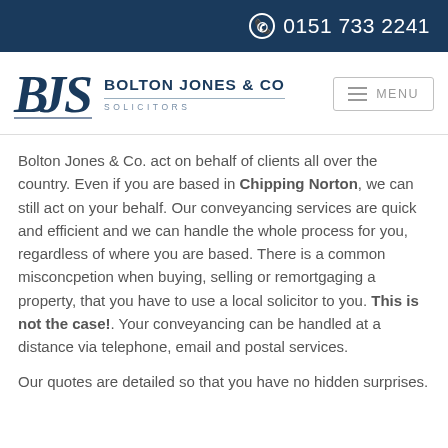0151 733 2241
[Figure (logo): Bolton Jones & Co Solicitors logo with BJS monogram in dark navy blue]
Bolton Jones & Co. act on behalf of clients all over the country. Even if you are based in Chipping Norton, we can still act on your behalf. Our conveyancing services are quick and efficient and we can handle the whole process for you, regardless of where you are based. There is a common misconcpetion when buying, selling or remortgaging a property, that you have to use a local solicitor to you. This is not the case!. Your conveyancing can be handled at a distance via telephone, email and postal services.
Our quotes are detailed so that you have no hidden surprises.